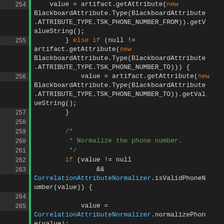[Figure (screenshot): Source code editor showing Java code lines 254-271 with syntax highlighting. Code handles phone number attribute retrieval and normalization using BlackboardAttribute and CorrelationAttributeNormalizer classes.]